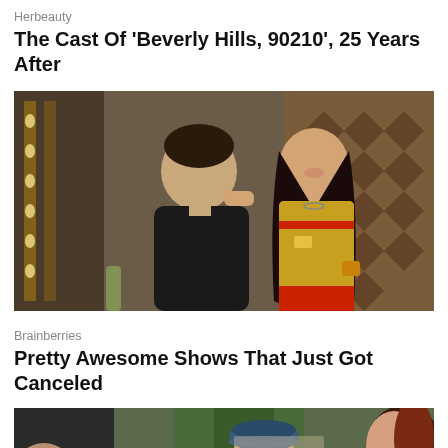Herbeauty
The Cast Of 'Beverly Hills, 90210', 25 Years After
[Figure (photo): A man in a black sweater and a woman in a yellow and red waitress uniform posing together in what appears to be a diner setting with decorative wallpaper in the background.]
Brainberries
Pretty Awesome Shows That Just Got Canceled
[Figure (photo): A partially visible scene showing people in what appears to be a period drama setting; a person wearing a blue beret is visible in the center, and a woman with red/auburn hair is on the right side. There is a circular X (close) button overlay in the lower left area.]